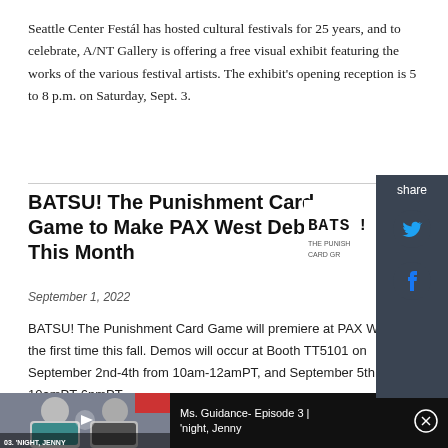Seattle Center Festál has hosted cultural festivals for 25 years, and to celebrate, A/NT Gallery is offering a free visual exhibit featuring the works of the various festival artists. The exhibit's opening reception is 5 to 8 p.m. on Saturday, Sept. 3.
BATSU! The Punishment Card Game to Make PAX West Debut This Month
September 1, 2022
[Figure (logo): BATSU! The Punishment Card Game logo in pixelated block font on white background]
BATSU! The Punishment Card Game will premiere at PAX West for the first time this fall. Demos will occur at Booth TT5101 on September 2nd-4th from 10am-12amPT, and September 5th from 10amPT-6pmPT.
[Figure (screenshot): Video player showing Ms. Guidance Episode 3 - 'night, Jenny. Thumbnail shows two men in a bathroom, with text overlay '03. 'NIGHT, JENNY'. Video title panel shows 'Ms. Guidance- Episode 3 | 'night, Jenny' with a close/X button.]